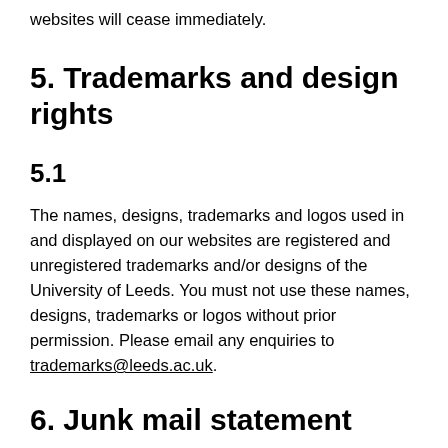websites will cease immediately.
5. Trademarks and design rights
5.1
The names, designs, trademarks and logos used in and displayed on our websites are registered and unregistered trademarks and/or designs of the University of Leeds. You must not use these names, designs, trademarks or logos without prior permission. Please email any enquiries to trademarks@leeds.ac.uk.
6. Junk mail statement